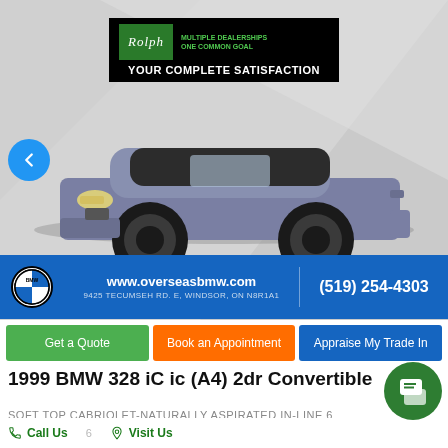[Figure (photo): 1999 BMW 328 iC convertible in blue/gray color parked in a lot, with a dealer banner overlay showing 'Rolph Auto Sales - Multiple Dealerships One Common Goal - Your Complete Satisfaction']
www.overseasbmw.com
9425 TECUMSEH RD. E, WINDSOR, ON N8R1A1
(519) 254-4303
Get a Quote | Book an Appointment | Appraise My Trade In
1999 BMW 328 iC ic (A4) 2dr Convertible
SOFT TOP CABRIOLET-NATURALLY ASPIRATED IN-LINE 6 CYLINDER
Call Us   Visit Us